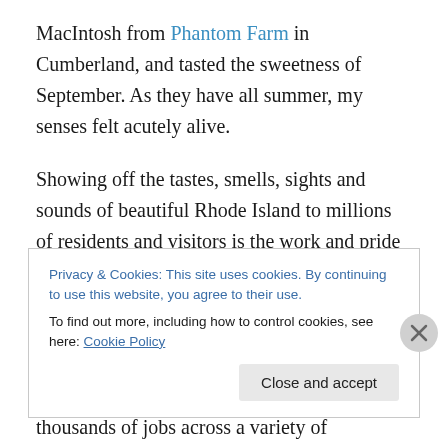MacIntosh from Phantom Farm in Cumberland, and tasted the sweetness of September. As they have all summer, my senses felt acutely alive.
Showing off the tastes, smells, sights and sounds of beautiful Rhode Island to millions of residents and visitors is the work and pride of dedicated professionals at the Department of Environmental Management and organizations across the state. The special qualities of the experiences and places that we safeguard and steward provide tens of thousands of jobs across a variety of
Privacy & Cookies: This site uses cookies. By continuing to use this website, you agree to their use.
To find out more, including how to control cookies, see here: Cookie Policy